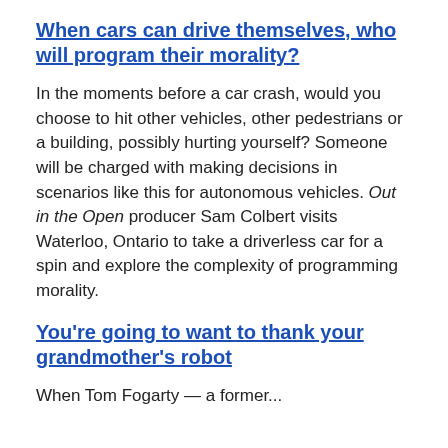When cars can drive themselves, who will program their morality?
In the moments before a car crash, would you choose to hit other vehicles, other pedestrians or a building, possibly hurting yourself? Someone will be charged with making decisions in scenarios like this for autonomous vehicles. Out in the Open producer Sam Colbert visits Waterloo, Ontario to take a driverless car for a spin and explore the complexity of programming morality.
You're going to want to thank your grandmother's robot
When Tom Fogarty — a former...